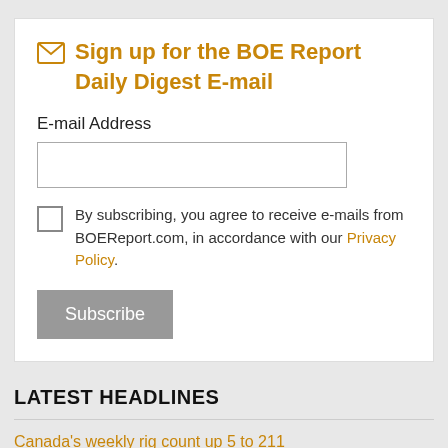Sign up for the BOE Report Daily Digest E-mail
E-mail Address
By subscribing, you agree to receive e-mails from BOEReport.com, in accordance with our Privacy Policy.
Subscribe
LATEST HEADLINES
Canada's weekly rig count up 5 to 211
TC Energy's service uninterrupted after incident at Alberta natgas pipeline site
U.S. natural gas futures slip, reversing gains and ending